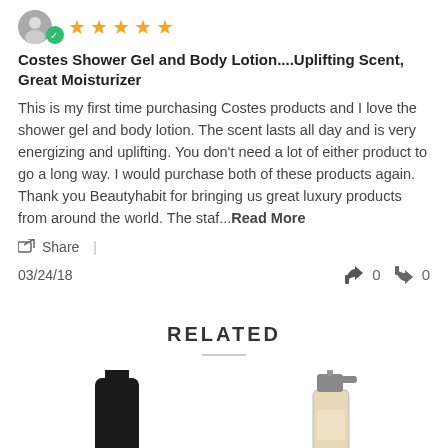[Figure (other): User avatar circle with green verified checkmark badge and 5 gold stars rating]
Costes Shower Gel and Body Lotion....Uplifting Scent, Great Moisturizer
This is my first time purchasing Costes products and I love the shower gel and body lotion. The scent lasts all day and is very energizing and uplifting. You don't need a lot of either product to go a long way. I would purchase both of these products again. Thank you Beautyhabit for bringing us great luxury products from around the world. The staf...Read More
Share  |
03/24/18    👍 0  👎 0
RELATED
[Figure (photo): Two product photos: left shows a tall black cylindrical bottle/cap, right shows a glass spray bottle with pump dispenser]